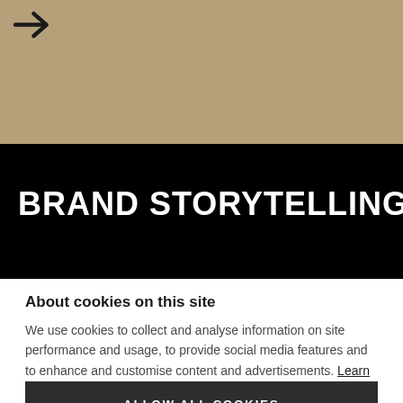[Figure (illustration): Tan/khaki colored banner with a dark arrow icon at top left]
BRAND STORYTELLING
About cookies on this site
We use cookies to collect and analyse information on site performance and usage, to provide social media features and to enhance and customise content and advertisements. Learn more
ALLOW ALL COOKIES
COOKIE SETTINGS